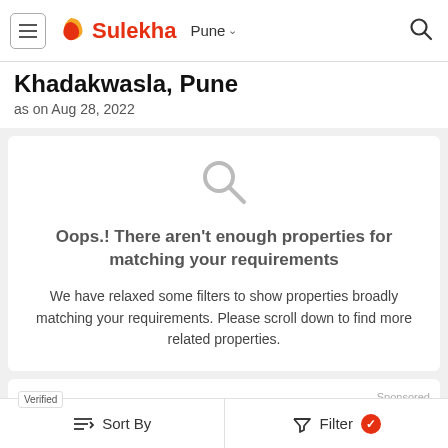Sulekha — Pune
Khadakwasla, Pune
as on Aug 28, 2022
[Figure (screenshot): Search icon (magnifying glass) in grey, indicating no results found]
Oops.! There aren't enough properties for matching your requirements
We have relaxed some filters to show properties broadly matching your requirements. Please scroll down to find more related properties.
Sponsored
Verified
3 BHK Independent House for
Sort By   Filter